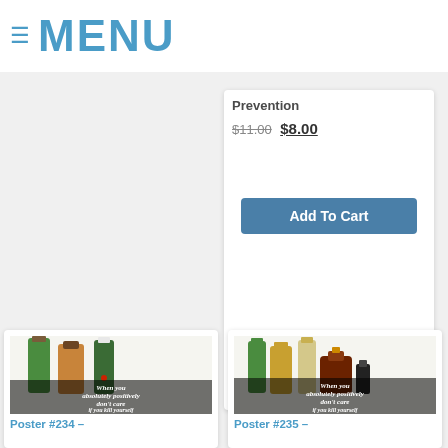≡ MENU
Prevention
$11.00 $8.00
Add To Cart
[Figure (photo): Poster showing multiple alcohol bottles (green liqueur, amber spirits, champagne) with text: When you absolutely positively don't care if you kill yourself]
Poster #234 –
[Figure (photo): Poster showing multiple alcohol bottles (green beer bottle, larger amber beer, white wine, dark liquor flask) with text: When you absolutely positively don't care if you kill yourself]
Poster #235 –